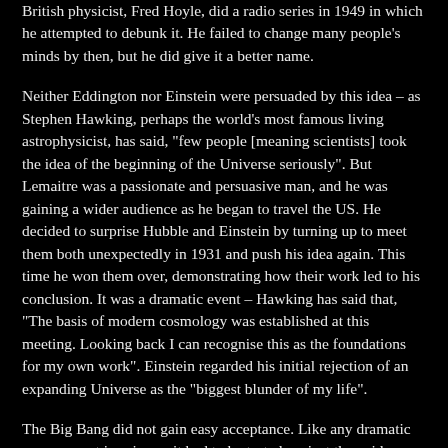British physicist, Fred Hoyle, did a radio series in 1949 in which he attempted to debunk it. He failed to change many people's minds by then, but he did give it a better name.
Neither Eddington nor Einstein were persuaded by this idea – as Stephen Hawking, perhaps the world's most famous living astrophysicist, has said, "few people [meaning scientists] took the idea of the beginning of the Universe seriously". But Lemaitre was a passionate and persuasive man, and he was gaining a wider audience as he began to travel the US. He decided to surprise Hubble and Einstein by turning up to meet them both unexpectedly in 1931 and push his idea again. This time he won them over, demonstrating how their work led to his conclusion. It was a dramatic event – Hawking has said that, "The basis of modern cosmology was established at this meeting. Looking back I can recognise this as the foundations for my own work". Einstein regarded his initial rejection of an expanding Universe as the "biggest blunder of my life".
The Big Bang did not gain easy acceptance. Like any dramatic new concept in science, it had to be tested against the evidence and alternative hypotheses. Opponents adopted the Steady State theory of the Universe which proposed that the Universe stayed